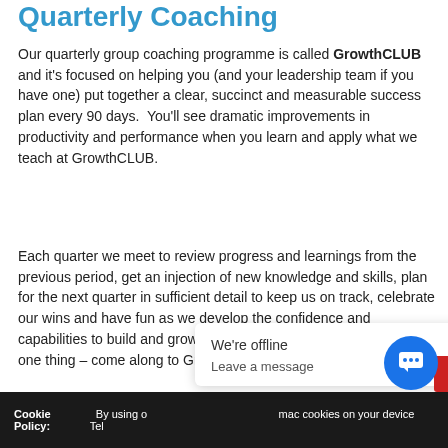Quarterly Coaching
Our quarterly group coaching programme is called GrowthCLUB and it's focused on helping you (and your leadership team if you have one) put together a clear, succinct and measurable success plan every 90 days.  You'll see dramatic improvements in productivity and performance when you learn and apply what we teach at GrowthCLUB.
Each quarter we meet to review progress and learnings from the previous period, get an injection of new knowledge and skills, plan for the next quarter in sufficient detail to keep us on track, celebrate our wins and have fun as we develop the confidence and capabilities to build and grow our businesses.  If you can only do one thing – come along to GrowthCLUB every q[...] iffe[...]
Cookie Policy: By using o[...] cookies on your device Tel[...]